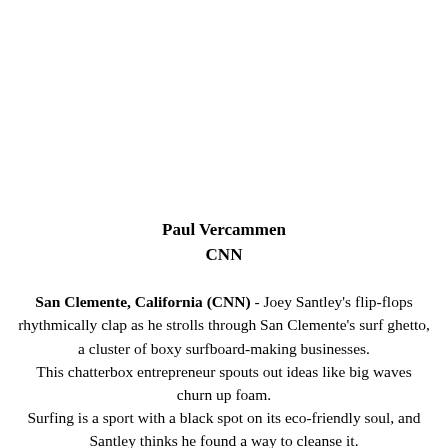Paul Vercammen
CNN
San Clemente, California (CNN) - Joey Santley's flip-flops rhythmically clap as he strolls through San Clemente's surf ghetto, a cluster of boxy surfboard-making businesses.
This chatterbox entrepreneur spouts out ideas like big waves churn up foam.
Surfing is a sport with a black spot on its eco-friendly soul, and Santley thinks he found a way to cleanse it.